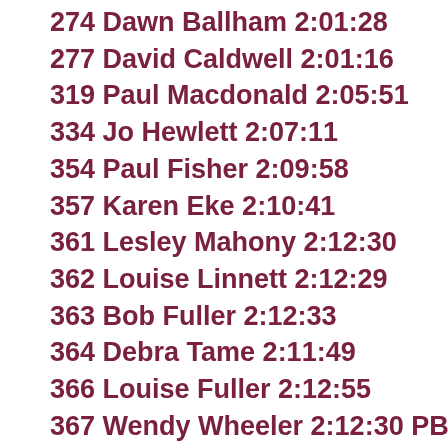274 Dawn Ballham 2:01:28
277 David Caldwell 2:01:16
319 Paul Macdonald 2:05:51
334 Jo Hewlett 2:07:11
354 Paul Fisher 2:09:58
357 Karen Eke 2:10:41
361 Lesley Mahony 2:12:30
362 Louise Linnett 2:12:29
363 Bob Fuller 2:12:33
364 Debra Tame 2:11:49
366 Louise Fuller 2:12:55
367 Wendy Wheeler 2:12:30 PB
377 Terri Martin 2:14:16
380 Kath Middleditch 2:14:20
382 Claire Pollendine 2:14:30
391 Emily Clarke 2:16:20
393 Catherine Tarr 2:17:30